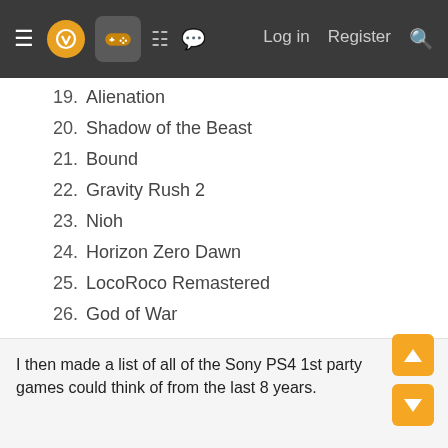≡ [logo] [controller] [grid] [chat] Log in  Register  🔍
19.  Alienation
20.  Shadow of the Beast
21.  Bound
22.  Gravity Rush 2
23.  Nioh
24.  Horizon Zero Dawn
25.  LocoRoco Remastered
26.  God of War
27.  Detroit Become Human
28.  MediEvil
29.  Nioh 2
I then made a list of all of the Sony PS4 1st party games could think of from the last 8 years.